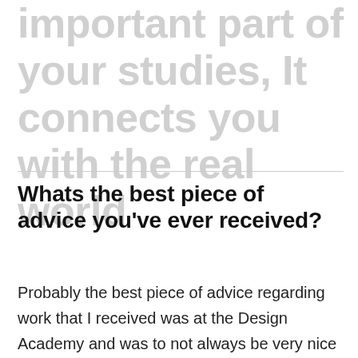important part of your studies, It connects you with the real world
Whats the best piece of advice you've ever received?
Probably the best piece of advice regarding work that I received was at the Design Academy and was to not always be very nice and compliant but instead be more stubborn and mischievous. It helped